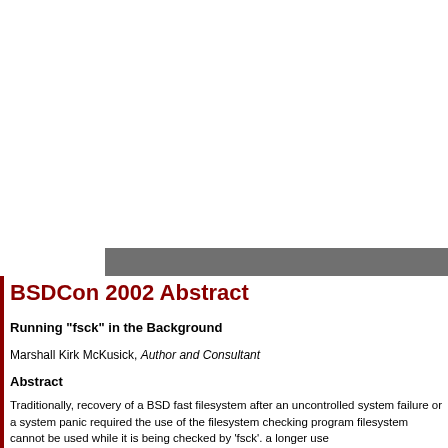BSDCon 2002 Abstract
Running "fsck" in the Background
Marshall Kirk McKusick, Author and Consultant
Abstract
Traditionally, recovery of a BSD fast filesystem after an uncontrolled system failure or a system panic required the use of the filesystem checking program. filesystem cannot be used while it is being checked by 'fsck'. a longer use